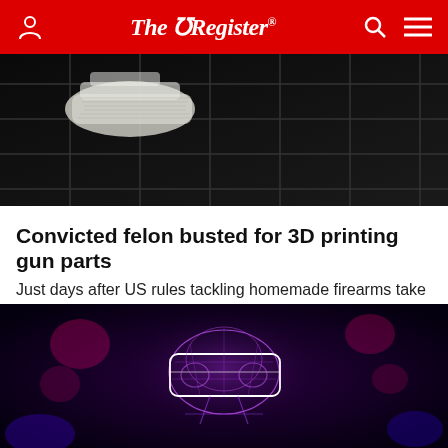The Register
[Figure (photo): Close-up of a 3D printer printing white plastic parts on a dark grid-pattern bed]
Convicted felon busted for 3D printing gun parts
Just days after US rules tackling homemade firearms take effect
CYBER-CRIME   11 hrs | 15 💬
[Figure (photo): Digital wireframe/glowing neon illustration of a person wearing a VR headset on a dark purple background]